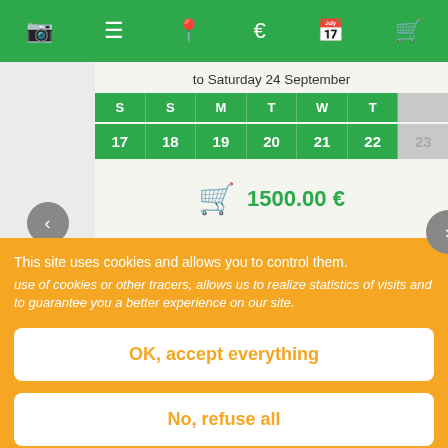[Figure (screenshot): Green navigation bar with icons: camera, list, location pin, euro sign, calendar, shopping cart]
to Saturday 24 September
| S | S | M | T | W | T | (gray) |
| --- | --- | --- | --- | --- | --- | --- |
| 17 | 18 | 19 | 20 | 21 | 22 | 23 |
1500.00 €
S39 From Saturday 24 September to Saturday 01 October
| S | S | M | T | W | T | F |
| --- | --- | --- | --- | --- | --- | --- |
This site uses cookies and allows you to control them.
use of cookies or other tracers, allows us to realize statistics of visits and to guarantee you a better experience on our site.
OK, accept everything
No, refuse all
Personalize